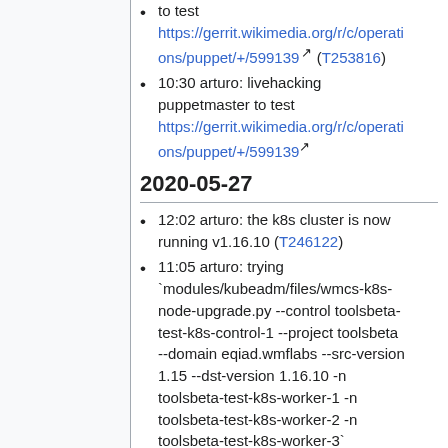to test https://gerrit.wikimedia.org/r/c/operations/puppet/+/599139 (T253816)
10:30 arturo: livehacking puppetmaster to test https://gerrit.wikimedia.org/r/c/operations/puppet/+/599139
2020-05-27
12:02 arturo: the k8s cluster is now running v1.16.10 (T246122)
11:05 arturo: trying `modules/kubeadm/files/wmcs-k8s-node-upgrade.py --control toolsbeta-test-k8s-control-1 --project toolsbeta --domain eqiad.wmflabs --src-version 1.15 --dst-version 1.16.10 -n toolsbeta-test-k8s-worker-1 -n toolsbeta-test-k8s-worker-2 -n toolsbeta-test-k8s-worker-3`